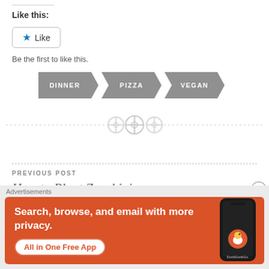Like this:
[Figure (other): Like button widget with star icon and 'Be the first to like this.' text]
[Figure (infographic): Three tag/chevron badges labeled DINNER, PIZZA, VEGAN in gray]
[Figure (other): Decorative dashed divider with three circular button icons]
PREVIOUS POST
How to Plant Zucchini
[Figure (other): DuckDuckGo advertisement banner: Search, browse, and email with more privacy. All in One Free App. Shows phone with DuckDuckGo logo.]